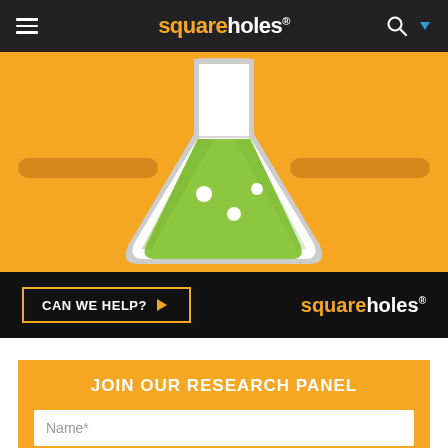squareholes®
[Figure (illustration): Orange background banner with a green Erlenmeyer flask illustration in the center, two dark orange decorative horizontal bars on the sides]
[Figure (logo): Black banner with 'CAN WE HELP? >' button and Square Holes logo]
JOIN OUR RESEARCH PANEL
Name*
Email*
JOIN